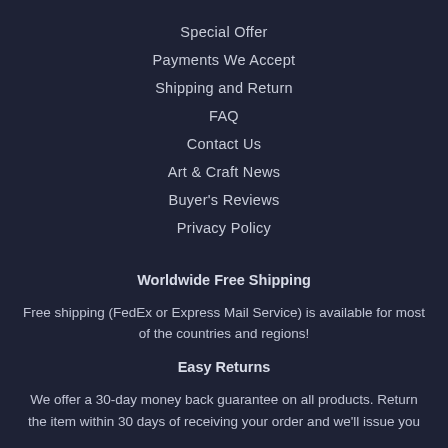Special Offer
Payments We Accept
Shipping and Return
FAQ
Contact Us
Art & Craft News
Buyer's Reviews
Privacy Policy
Worldwide Free Shipping
Free shipping (FedEx or Express Mail Service) is available for most of the countries and regions!
Easy Returns
We offer a 30-day money back guarantee on all products. Return the item within 30 days of receiving your order and we'll issue you